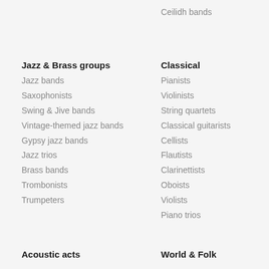Ceilidh bands
Jazz & Brass groups
Jazz bands
Saxophonists
Swing & Jive bands
Vintage-themed jazz bands
Gypsy jazz bands
Jazz trios
Brass bands
Trombonists
Trumpeters
Classical
Pianists
Violinists
String quartets
Classical guitarists
Cellists
Flautists
Clarinettists
Oboists
Violists
Piano trios
Acoustic acts
World & Folk